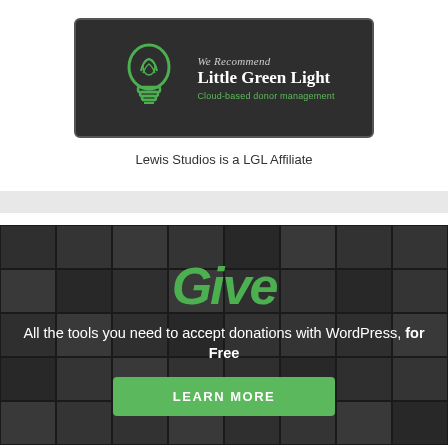[Figure (logo): Little Green Light affiliate banner with lightbulb logo on dark background. Text reads: We Recommend Little Green Light, Cloud-based donor management]
Lewis Studios is a LGL Affiliate
[Figure (infographic): Give plugin advertisement banner with dark background showing mosaic of people. Green 'Give' script logo, text: All the tools you need to accept donations with WordPress, for Free. Green LEARN MORE button.]